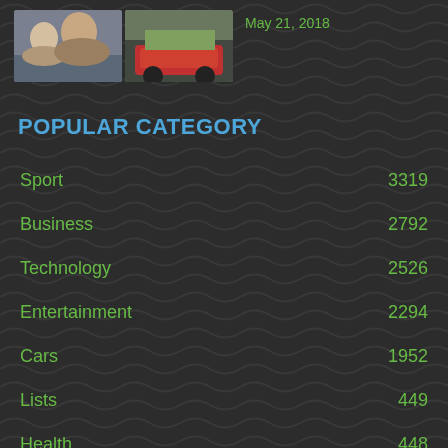[Figure (photo): Two thumbnail images side by side showing people and a red car]
May 21, 2018
POPULAR CATEGORY
Sport  3319
Business  2792
Technology  2526
Entertainment  2294
Cars  1952
Lists  449
Health  448
From The Press  334
Home & Garden  328